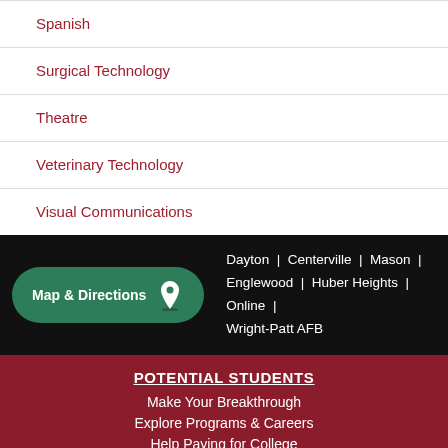Spanish
Surgical Technology
Theatre
Veterinary Technology
Visual Communications
[Figure (other): Map & Directions button with location pin icon]
Dayton | Centerville | Mason | Englewood | Huber Heights | Online | Wright-Patt AFB
POTENTIAL STUDENTS
Make Your Breakthrough
Explore Programs & Careers
Help Paying for College